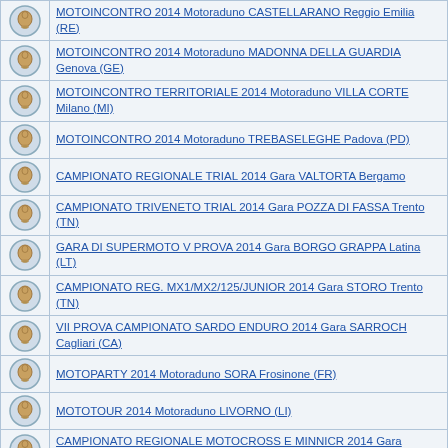MOTOINCONTRO 2014 Motoraduno CASTELLARANO Reggio Emilia (RE)
MOTOINCONTRO 2014 Motoraduno MADONNA DELLA GUARDIA Genova (GE)
MOTOINCONTRO TERRITORIALE 2014 Motoraduno VILLA CORTE Milano (MI)
MOTOINCONTRO 2014 Motoraduno TREBASELEGHE Padova (PD)
CAMPIONATO REGIONALE TRIAL 2014 Gara VALTORTA Bergamo
CAMPIONATO TRIVENETO TRIAL 2014 Gara POZZA DI FASSA Trento (TN)
GARA DI SUPERMOTO V PROVA 2014 Gara BORGO GRAPPA Latina (LT)
CAMPIONATO REG. MX1/MX2/125/JUNIOR 2014 Gara STORO Trento (TN)
VII PROVA CAMPIONATO SARDO ENDURO 2014 Gara SARROCH Cagliari (CA)
MOTOPARTY 2014 Motoraduno SORA Frosinone (FR)
MOTOTOUR 2014 Motoraduno LIVORNO (LI)
CAMPIONATO REGIONALE MOTOCROSS E MINNICR 2014 Gara POLCANTO Firenze (FI)